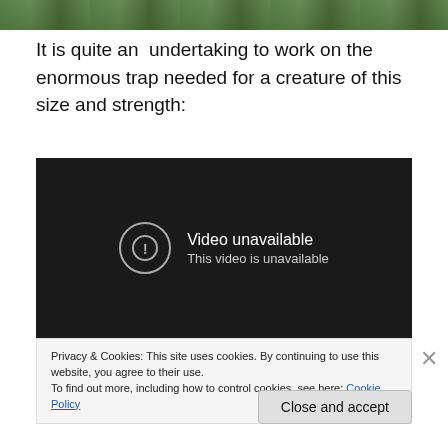[Figure (photo): Partial photo strip at top of page showing outdoor/nature scene with green tones]
It is quite an  undertaking to work on the enormous trap needed for a creature of this size and strength:
[Figure (screenshot): Embedded video player showing 'Video unavailable / This video is unavailable' message on dark background]
Privacy & Cookies: This site uses cookies. By continuing to use this website, you agree to their use.
To find out more, including how to control cookies, see here: Cookie Policy
Close and accept